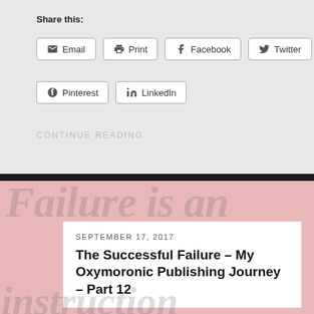Share this:
Email
Print
Facebook
Twitter
Pinterest
LinkedIn
CONTINUE READING
[Figure (screenshot): Background large italic text reading 'Failure is an instruction']
SEPTEMBER 17, 2017
The Successful Failure – My Oxymoronic Publishing Journey – Part 12